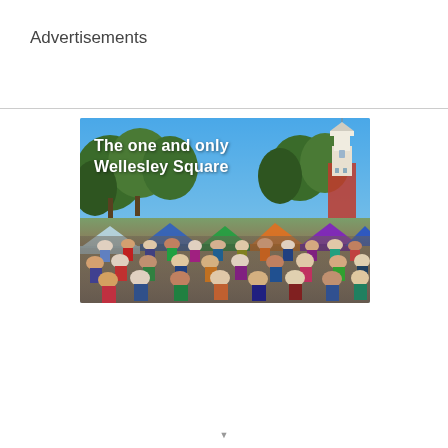Advertisements
[Figure (photo): Outdoor market/festival scene at Wellesley Square with colorful tents, a crowd of people, trees in background, and a white bell tower visible on the right side. Text overlay reads 'The one and only Wellesley Square']
The one and only Wellesley Square